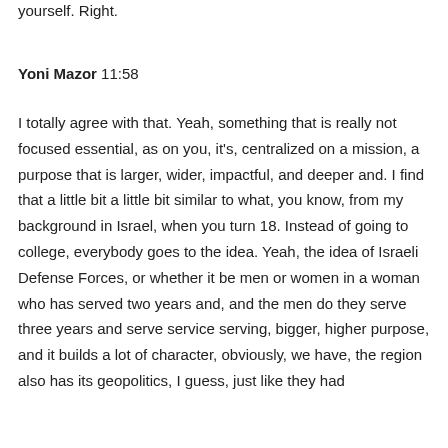yourself. Right.
Yoni Mazor 11:58
I totally agree with that. Yeah, something that is really not focused essential, as on you, it's, centralized on a mission, a purpose that is larger, wider, impactful, and deeper and. I find that a little bit a little bit similar to what, you know, from my background in Israel, when you turn 18. Instead of going to college, everybody goes to the idea. Yeah, the idea of Israeli Defense Forces, or whether it be men or women in a woman who has served two years and, and the men do they serve three years and serve service serving, bigger, higher purpose, and it builds a lot of character, obviously, we have, the region also has its geopolitics, I guess, just like they had